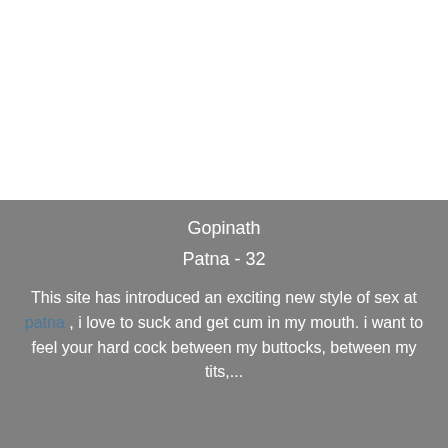Gopinath
Patna - 32
This site has introduced an exciting new style of sex at patna , i love to suck and get cum in my mouth. i want to feel your hard cock between my buttocks, between my tits,...